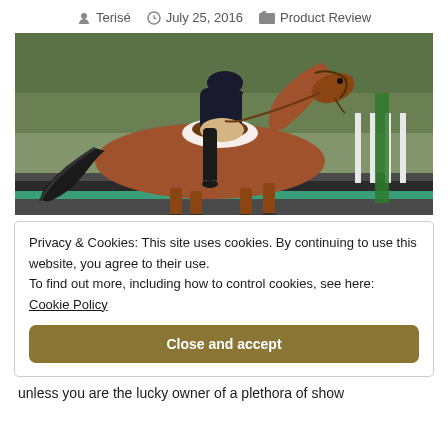Terisé   July 25, 2016   Product Review
[Figure (photo): A chestnut horse with a rider in show jumping attire (black jacket, beige breeches, black tall boots) at an equestrian venue with green jumps in the background.]
Privacy & Cookies: This site uses cookies. By continuing to use this website, you agree to their use.
To find out more, including how to control cookies, see here:
Cookie Policy
Close and accept
unless you are the lucky owner of a plethora of show